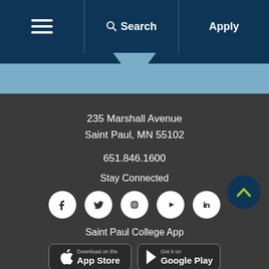[Figure (screenshot): Navigation bar with hamburger menu, Search, and Apply buttons on dark blue background]
235 Marshall Avenue
Saint Paul, MN 55102
651.846.1600
Stay Connected
[Figure (infographic): Social media icons row: Facebook, Twitter, Instagram, YouTube/Play, LinkedIn]
Saint Paul College App
[Figure (infographic): App store download buttons: Download on the App Store and Get it on Google Play]